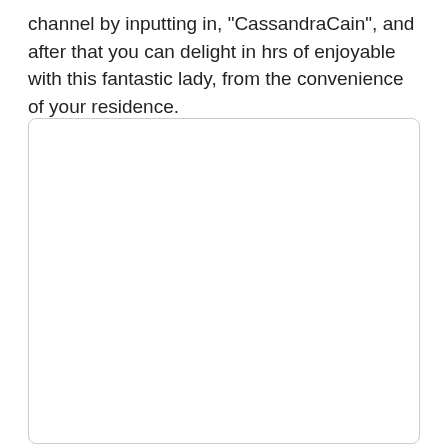channel by inputting in, "CassandraCain", and after that you can delight in hrs of enjoyable with this fantastic lady, from the convenience of your residence.
[Figure (other): A large empty white rounded rectangle box, likely a placeholder for an image or video embed.]